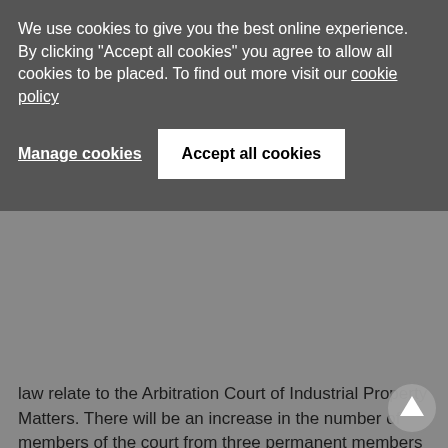We use cookies to give you the best online experience. By clicking "Accept all cookies" you agree to allow all cookies to be placed. To find out more visit our cookie policy
Manage cookies
Accept all cookies
law relate to the Arbitration Court of Industrial Property Matters. There will be an increase in the number of members of the court from three permanent members to six permanent members and four substitute members. It is expected that this increase will help to expedite appeal proceedings and reduce the court's backlog.
Carmen Paz Alvarez, Sargent & Krahn,